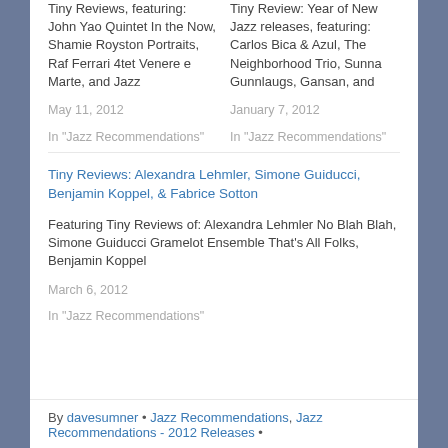Tiny Reviews, featuring: John Yao Quintet In the Now, Shamie Royston Portraits, Raf Ferrari 4tet Venere e Marte, and Jazz
Tiny Review: Year of New Jazz releases, featuring: Carlos Bica & Azul, The Neighborhood Trio, Sunna Gunnlaugs, Gansan, and
May 11, 2012
In "Jazz Recommendations"
January 7, 2012
In "Jazz Recommendations"
Tiny Reviews: Alexandra Lehmler, Simone Guiducci, Benjamin Koppel, & Fabrice Sotton
Featuring Tiny Reviews of: Alexandra Lehmler No Blah Blah, Simone Guiducci Gramelot Ensemble That's All Folks, Benjamin Koppel
March 6, 2012
In "Jazz Recommendations"
By davesumner • Jazz Recommendations, Jazz Recommendations - 2012 Releases •